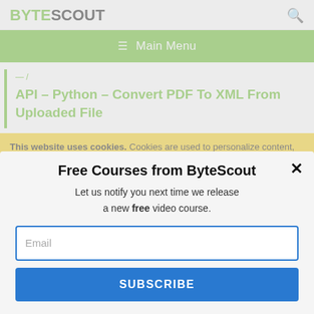BYTESCOUT
≡  Main Menu
API – Python – Convert PDF To XML From Uploaded File
This website uses cookies. Cookies are used to personalize content, analyze traffic, provide social media features, display ads. We also share
Free Courses from ByteScout
Let us notify you next time we release a new free video course.
Email
SUBSCRIBE